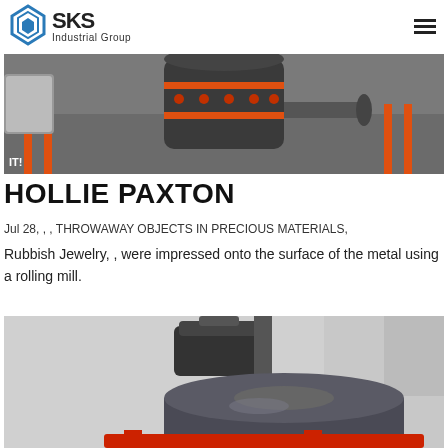SKS Industrial Group
[Figure (photo): Industrial heavy machinery, large cone crusher or similar industrial equipment with orange frame and dark metal body in a factory setting]
HOLLIE PAXTON
Jul 28, , , THROWAWAY OBJECTS IN PRECIOUS MATERIALS,
Rubbish Jewelry, , were impressed onto the surface of the metal using a rolling mill.
[Figure (photo): Industrial equipment showing a large grey tank/vessel with a motor on top, mounted on a red base frame, in a factory setting]